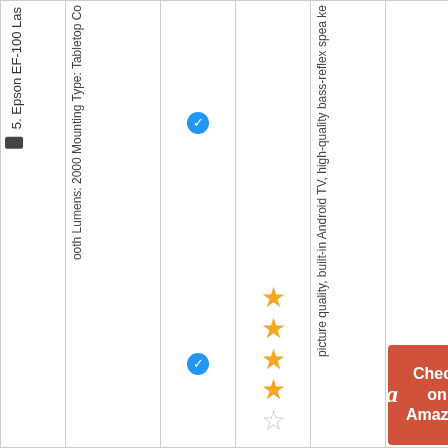| Product | Specs | Verified | Rating | Review Summary | Buy |
| --- | --- | --- | --- | --- | --- |
| 5. Epson EF-100 Las... | Bluetooth Lumens: 2000 Mounting Type: Tabletop Co... | ✓ ✓ | 4/5 stars | picture quality, built-in Android TV, high-quality bass-reflex spea ke... | Check on Amazon |